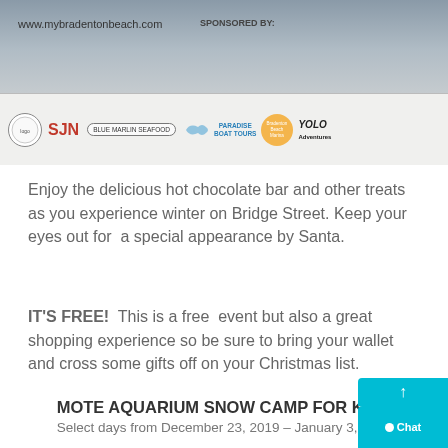[Figure (photo): Sponsor banner image for Bradenton Beach event showing website URL www.mybradentonbeach.com and sponsor logos including SJN, Blue Marlin Seafood, Paradise Boat Tours, Bradenton Beach Marina, and YOLO Adventures]
Enjoy the delicious hot chocolate bar and other treats as you experience winter on Bridge Street. Keep your eyes out for  a special appearance by Santa.
IT'S FREE!  This is a free  event but also a great shopping experience so be sure to bring your wallet and cross some gifts off on your Christmas list.
MOTE AQUARIUM SNOW CAMP FOR KIDS
Select days from December 23, 2019 – January 3, 2019
Kids can spend some or all of their winter break at Mote Camp. Campers will explore marine life  during this